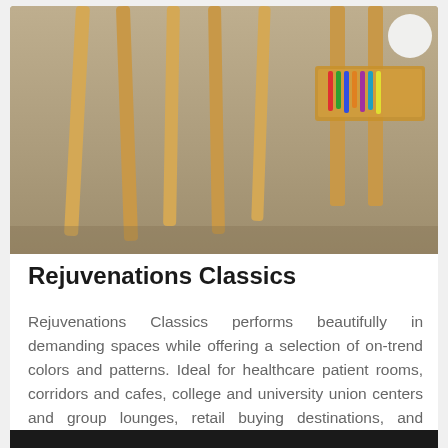[Figure (photo): Photo of wooden furniture legs and a wooden tray/shelf with supplies on a light concrete floor background, seen from below/mid level.]
Rejuvenations Classics
Rejuvenations Classics performs beautifully in demanding spaces while offering a selection of on-trend colors and patterns. Ideal for healthcare patient rooms, corridors and cafes, college and university union centers and group lounges, retail buying destinations, and hospitality and corporate lobbies. The collection includes textiles, travertines, concretes and warm woods.